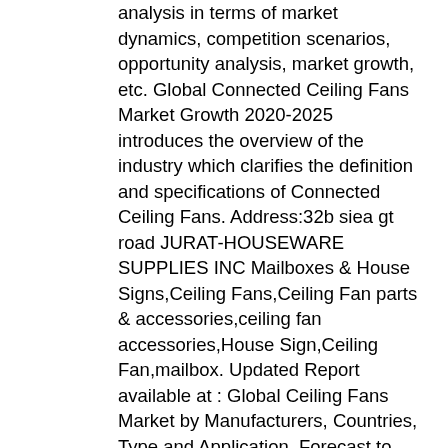analysis in terms of market dynamics, competition scenarios, opportunity analysis, market growth, etc. Global Connected Ceiling Fans Market Growth 2020-2025 introduces the overview of the industry which clarifies the definition and specifications of Connected Ceiling Fans. Address:32b siea gt road JURAT-HOUSEWARE SUPPLIES INC Mailboxes & House Signs,Ceiling Fans,Ceiling Fan parts & accessories,ceiling fan accessories,House Sign,Ceiling Fan,mailbox. Updated Report available at : Global Ceiling Fans Market by Manufacturers, Countries, Type and Application, Forecast to 2022 Request a free Sample A ceiling fan is a mechanical fan, usually electrically powered, suspended from the ceiling of a room that uses hub-mounted rotating paddles to circulate air. The global Ceiling Fans market is valued at 3942.7 million US$ in 2020 is expected to reach 4290.1 million US$ by the end of 2026, growing at a CAGR of 1.2% during 2021-2026. Additionally, increasing awareness regarding convenient ceiling fans … A ceiling fan is a mechanical fan, usually electrically powered, suspended from the ceiling of a room that uses hub-mounted